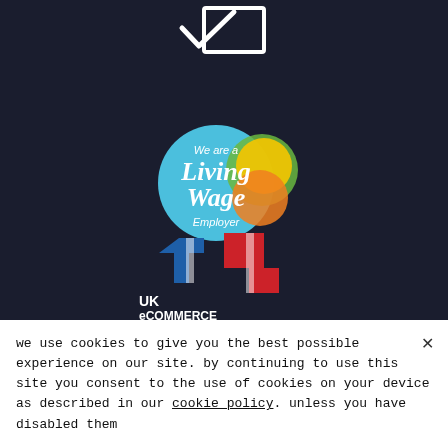[Figure (logo): Checkmark with rectangle outline logo at top, white on dark background]
[Figure (logo): We are a Living Wage Employer circular logo with blue, green, yellow and orange overlapping circles]
[Figure (logo): UK eCommerce Awards 2021 Finalist logo with blue and red arrow shapes]
we use cookies to give you the best possible experience on our site. by continuing to use this site you consent to the use of cookies on your device as described in our cookie policy. unless you have disabled them